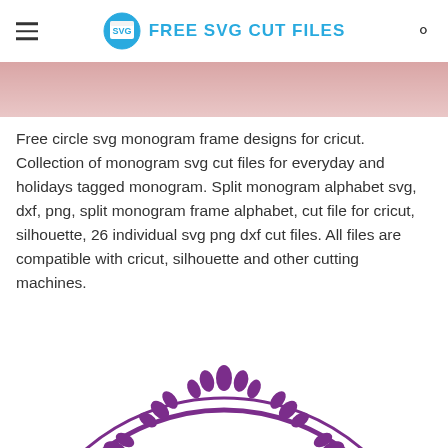FREE SVG CUT FILES
[Figure (photo): Partial image strip at top of page, pink/rose toned background.]
Free circle svg monogram frame designs for cricut. Collection of monogram svg cut files for everyday and holidays tagged monogram. Split monogram alphabet svg, dxf, png, split monogram frame alphabet, cut file for cricut, silhouette, 26 individual svg png dxf cut files. All files are compatible with cricut, silhouette and other cutting machines.
[Figure (illustration): Purple decorative circle monogram frame SVG design, showing the top arc of the frame with floral/teardrop decorative elements around the outer edge. The frame consists of two concentric circles with ornate petal/teardrop shapes along the perimeter.]